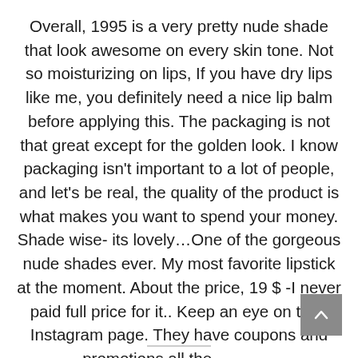Overall, 1995 is a very pretty nude shade that look awesome on every skin tone. Not so moisturizing on lips, If you have dry lips like me, you definitely need a nice lip balm before applying this. The packaging is not that great except for the golden look. I know packaging isn't important to a lot of people, and let's be real, the quality of the product is what makes you want to spend your money. Shade wise- its lovely…One of the gorgeous nude shades ever. My most favorite lipstick at the moment. About the price, 19 $ -I never paid full price for it.. Keep an eye on their Instagram page. They have coupons and promotions all the